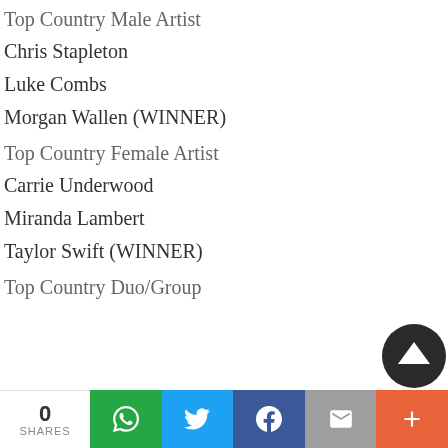Top Country Male Artist
Chris Stapleton
Luke Combs
Morgan Wallen (WINNER)
Top Country Female Artist
Carrie Underwood
Miranda Lambert
Taylor Swift (WINNER)
Top Country Duo/Group
0 SHARES